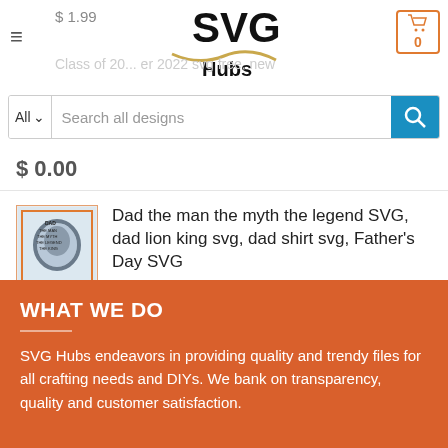[Figure (screenshot): SVG Hubs website header with logo, hamburger menu, cart icon showing 0, and search bar with 'All' dropdown and 'Search all designs' placeholder]
$1.99
Class of 20... 2022 svg free, new
$ 0.00
[Figure (illustration): Product thumbnail: Dad the man the myth the legend SVG with lion illustration]
Dad the man the myth the legend SVG, dad lion king svg, dad shirt svg, Father's Day SVG
$ 1.99
WHAT WE DO
SVG Hubs endeavors in providing quality and trendy files for all crafting needs and DIYs. We bank on transparency, quality and customer satisfaction.